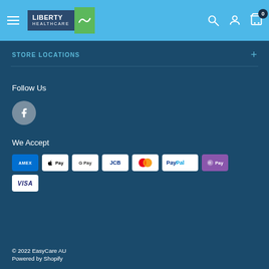[Figure (logo): Liberty Healthcare logo with blue text block and green square with wave symbol, set in a light blue navigation header with hamburger menu, search, account, and cart icons]
STORE LOCATIONS
Follow Us
[Figure (illustration): Facebook icon circle button]
We Accept
[Figure (illustration): Payment method icons: American Express, Apple Pay, Google Pay, JCB, Mastercard, PayPal, Shop Pay, Visa]
© 2022 EasyCare AU
Powered by Shopify